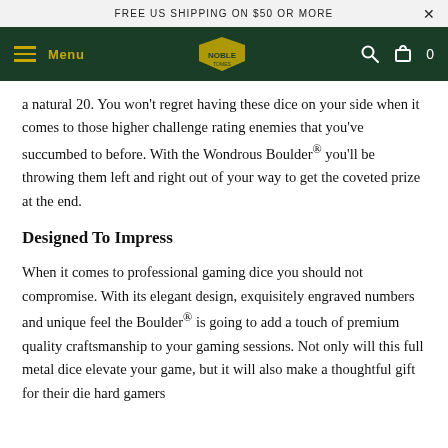FREE US SHIPPING ON $50 OR MORE
Menu | Logo | Search | Cart 0
a natural 20. You won't regret having these dice on your side when it comes to those higher challenge rating enemies that you've succumbed to before. With the Wondrous Boulder® you'll be throwing them left and right out of your way to get the coveted prize at the end.
Designed To Impress
When it comes to professional gaming dice you should not compromise. With its elegant design, exquisitely engraved numbers and unique feel the Boulder® is going to add a touch of premium quality craftsmanship to your gaming sessions. Not only will this full metal dice elevate your game, but it will also make a thoughtful gift for their die hard gamers